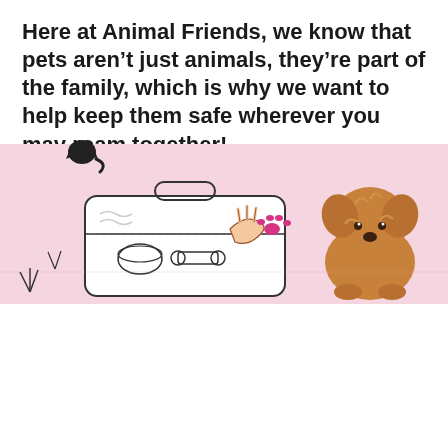[Figure (illustration): Pink background illustration showing a suitcase being packed with pet items (bowl, bone), hands opening the suitcase, a pink paw print icon, decorative grass/plant elements, and a fluffy golden/orange dog sitting to the right.]
Here at Animal Friends, we know that pets aren't just animals, they're part of the family, which is why we want to help keep them safe wherever you may roam together!
We're used to strapping ourselves in to stay safe while we travel and it's just as important to do the same for our pets. Here's some advice on how to make your outings a positive experience for everyone involved.